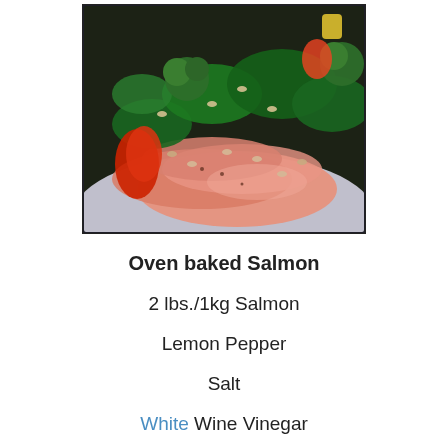[Figure (photo): A close-up photograph of oven baked salmon on a plate garnished with broccoli, spinach leaves, red peppers, pine nuts, and other vegetables.]
Oven baked Salmon
2 lbs./1kg Salmon
Lemon Pepper
Salt
White Wine Vinegar